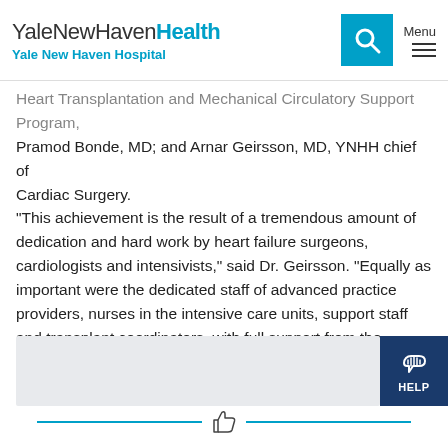YaleNewHavenHealth Yale New Haven Hospital
Heart Transplantation and Mechanical Circulatory Support Program, Pramod Bonde, MD; and Arnar Geirsson, MD, YNHH chief of Cardiac Surgery.
“This achievement is the result of a tremendous amount of dedication and hard work by heart failure surgeons, cardiologists and intensivists,” said Dr. Geirsson. “Equally as important were the dedicated staff of advanced practice providers, nurses in the intensive care units, support staff and transplant coordinators, with full support from the administration of the Heart and Vascular Center at YNHH.”